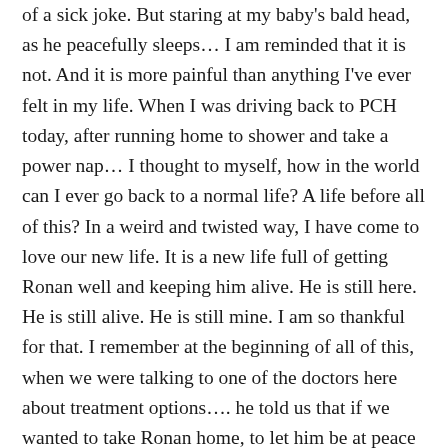of a sick joke. But staring at my baby's bald head, as he peacefully sleeps... I am reminded that it is not. And it is more painful than anything I've ever felt in my life. When I was driving back to PCH today, after running home to shower and take a power nap... I thought to myself, how in the world can I ever go back to a normal life? A life before all of this? In a weird and twisted way, I have come to love our new life. It is a new life full of getting Ronan well and keeping him alive. He is still here. He is still alive. He is still mine. I am so thankful for that. I remember at the beginning of all of this, when we were talking to one of the doctors here about treatment options.... he told us that if we wanted to take Ronan home, to let him be at peace and not do any of the treatments, that they wouldn't fight us about it. His words still haunt me....how in the world could that have even been an option?? To give up on your baby and not do everything in your power to help him fight though